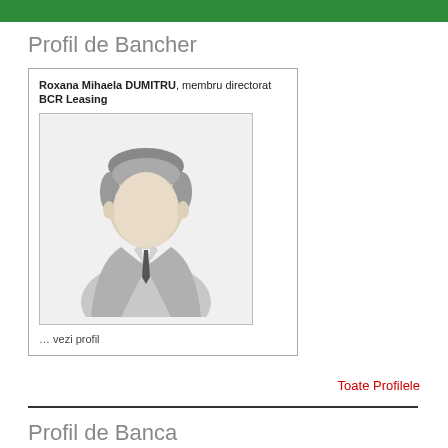Profil de Bancher
Roxana Mihaela DUMITRU, membru directorat BCR Leasing
[Figure (illustration): Generic male business person silhouette/avatar icon in grey tones, shown from torso up wearing a suit and tie]
… vezi profil
Toate Profilele
Profil de Banca